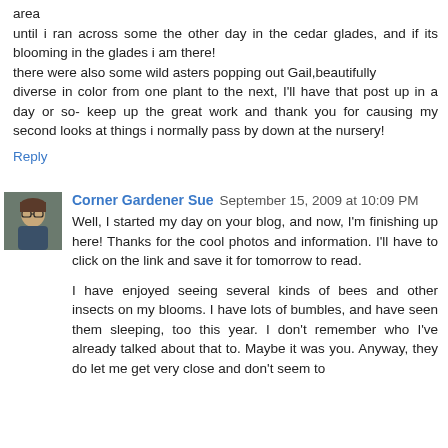area until i ran across some the other day in the cedar glades, and if its blooming in the glades i am there! there were also some wild asters popping out Gail,beautifully diverse in color from one plant to the next, I'll have that post up in a day or so- keep up the great work and thank you for causing my second looks at things i normally pass by down at the nursery!
Reply
Corner Gardener Sue  September 15, 2009 at 10:09 PM
Well, I started my day on your blog, and now, I'm finishing up here! Thanks for the cool photos and information. I'll have to click on the link and save it for tomorrow to read.
I have enjoyed seeing several kinds of bees and other insects on my blooms. I have lots of bumbles, and have seen them sleeping, too this year. I don't remember who I've already talked about that to. Maybe it was you. Anyway, they do let me get very close and don't seem to